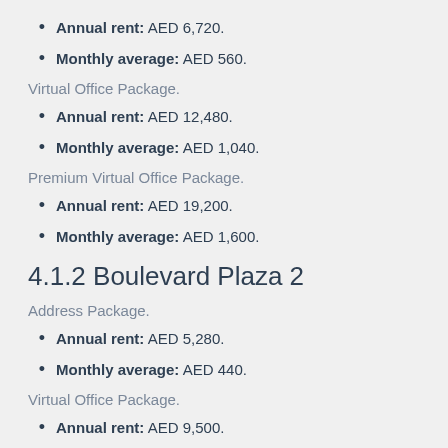Annual rent: AED 6,720.
Monthly average: AED 560.
Virtual Office Package.
Annual rent: AED 12,480.
Monthly average: AED 1,040.
Premium Virtual Office Package.
Annual rent: AED 19,200.
Monthly average: AED 1,600.
4.1.2 Boulevard Plaza 2
Address Package.
Annual rent: AED 5,280.
Monthly average: AED 440.
Virtual Office Package.
Annual rent: AED 9,500.